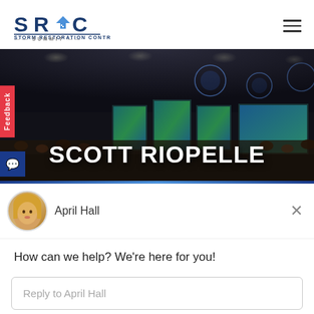[Figure (logo): SRC Storm Restoration Contractor Summit logo]
[Figure (photo): Conference hall photo with audience seated at tables, stage with screens, overlaid large white text 'SCOTT RIOPELLE', with red Feedback tab on left side]
[Figure (screenshot): Drift chat widget showing avatar of April Hall, close button X, message 'How can we help? We're here for you!', reply input field, and 'Chat by Drift' footer]